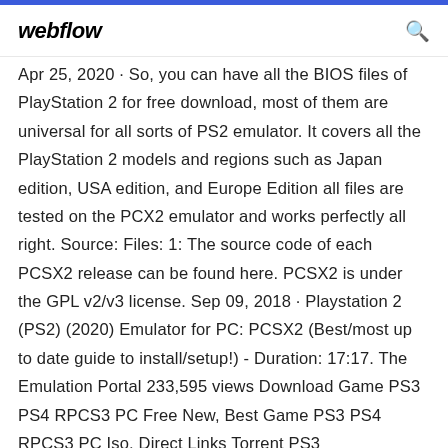webflow
Apr 25, 2020 · So, you can have all the BIOS files of PlayStation 2 for free download, most of them are universal for all sorts of PS2 emulator. It covers all the PlayStation 2 models and regions such as Japan edition, USA edition, and Europe Edition all files are tested on the PCX2 emulator and works perfectly all right. Source: Files: 1: The source code of each PCSX2 release can be found here. PCSX2 is under the GPL v2/v3 license. Sep 09, 2018 · Playstation 2 (PS2) (2020) Emulator for PC: PCSX2 (Best/most up to date guide to install/setup!) - Duration: 17:17. The Emulation Portal 233,595 views Download Game PS3 PS4 RPCS3 PC Free New, Best Game PS3 PS4 RPCS3 PC Iso, Direct Links Torrent PS3